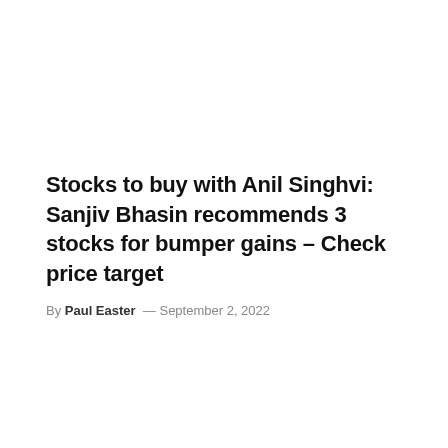Stocks to buy with Anil Singhvi: Sanjiv Bhasin recommends 3 stocks for bumper gains – Check price target
By Paul Easter — September 2, 2022